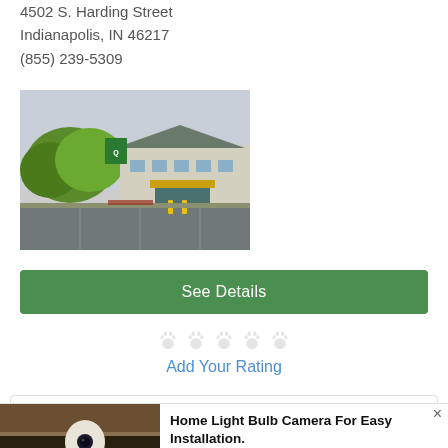4502 S. Harding Street
Indianapolis, IN 46217
(855) 239-5309
[Figure (photo): Exterior photo of a Quality Inn hotel building with green trees in front, parking lot, and overcast sky]
See Details
[Figure (other): Five paw-print rating icons in light gray (empty/unrated)]
Add Your Rating
[Figure (photo): Advertisement showing a light bulb security camera held in hand]
Home Light Bulb Camera For Easy Installation.
Keillini | Sponsored